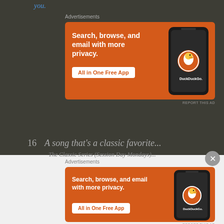you.
Advertisements
[Figure (screenshot): DuckDuckGo advertisement banner: orange background with text 'Search, browse, and email with more privacy. All in One Free App' and a phone showing DuckDuckGo logo]
REPORT THIS AD
16   A song that's a classic favorite...
The Classic Series (Session Day Mondays)...
Advertisements
[Figure (screenshot): DuckDuckGo advertisement banner: orange background with text 'Search, browse, and email with more privacy. All in One Free App' and a phone showing DuckDuckGo logo]
REPORT THIS AD